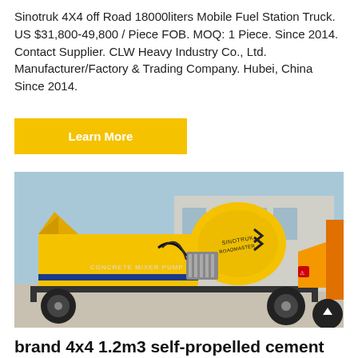Sinotruk 4X4 off Road 18000liters Mobile Fuel Station Truck. US $31,800-49,800 / Piece FOB. MOQ: 1 Piece. Since 2014. Contact Supplier. CLW Heavy Industry Co., Ltd. Manufacturer/Factory & Trading Company. Hubei, China Since 2014.
Learn More
[Figure (photo): Yellow concrete mixer pump machine on wheels, parked on a concrete surface in front of a factory building. The machine is labeled 'CONCRETE MIXER PUMP' with a blue stripe. A yellow rotating drum is visible on the back with branding text.]
brand 4x4 1.2m3 self-propelled cement